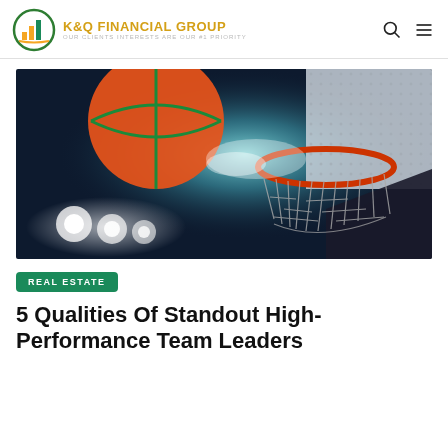K&Q FINANCIAL GROUP — OUR CLIENTS' INTERESTS ARE OUR #1 PRIORITY
[Figure (photo): Basketball going through a chain net hoop, dramatic lighting with bright lights in the background, dark arena setting, motion blur on ball]
REAL ESTATE
5 Qualities Of Standout High-Performance Team Leaders